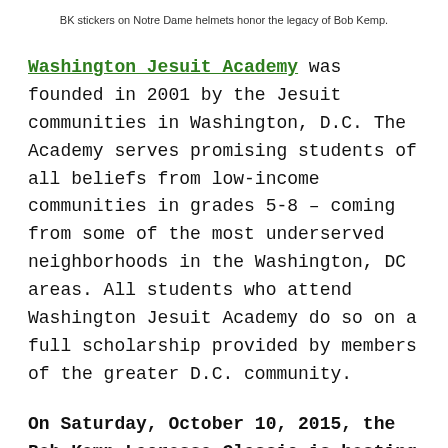BK stickers on Notre Dame helmets honor the legacy of Bob Kemp.
Washington Jesuit Academy was founded in 2001 by the Jesuit communities in Washington, D.C. The Academy serves promising students of all beliefs from low-income communities in grades 5-8 – coming from some of the most underserved neighborhoods in the Washington, DC areas. All students who attend Washington Jesuit Academy do so on a full scholarship provided by members of the greater D.C. community.
On Saturday, October 10, 2015, the Bob Kemp Lacrosse Classic is hosting a special event from 3:00